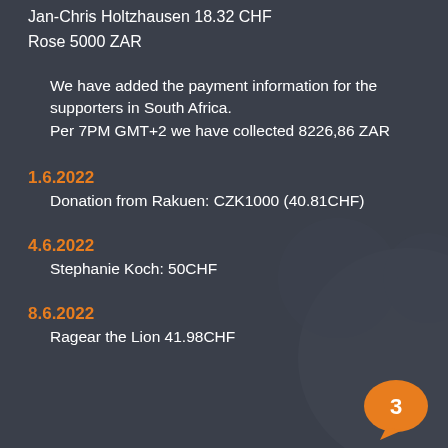Jan-Chris Holtzhausen 18.32 CHF
Rose 5000 ZAR
We have added the payment information for the supporters in South Africa.
Per 7PM GMT+2 we have collected 8226,86 ZAR
1.6.2022
Donation from Rakuen: CZK1000 (40.81CHF)
4.6.2022
Stephanie Koch: 50CHF
8.6.2022
Ragear the Lion 41.98CHF